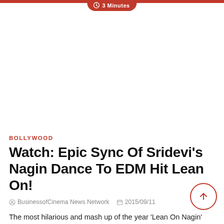3 Minutes
BOLLYWOOD
Watch: Epic Sync Of Sridevi's Nagin Dance To EDM Hit Lean On!
BusinessofCinema News Network   2015/09/11
The most hilarious and mash up of the year 'Lean On Nagin' featuring Sridevi is something you shouldn't miss to watch